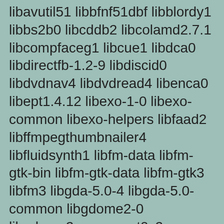libavutil51 libbfnf51dbf libblordy1 libbs2b0 libcddb2 libcolamd2.7.1 libcompfaceg1 libcue1 libdca0 libdirectfb-1.2-9 libdiscid0 libdvdnav4 libdvdread4 libenca0 libept1.4.12 libexo-1-0 libexo-common libexo-helpers libfaad2 libffmpegthumbnailer4 libfluidsynth1 libfm-data libfm-gtk-bin libfm-gtk-data libfm-gtk3 libfm3 libgda-5.0-4 libgda-5.0-common libgdome2-0 libgdome2-cpp-smart0c2a libgksu2-0 libglade2-0 libgmlib1 libgmtk1 libgmtk1-data libgoffice-0.10-10 libgoffice-0.10-10-common libgsf-1-114 libgsf-1-common libgsm1 libgtkmathview0c2a libgtkspell0 libguess1 libid3tag0 libimlib2 libjpeg-progs libjpeg-turbo-